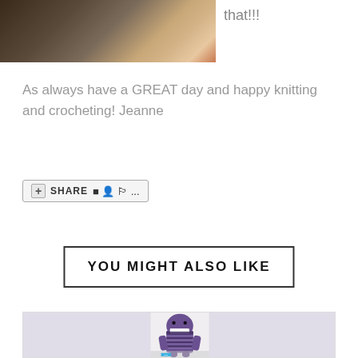[Figure (photo): Photo of colorful knitting or crocheting project, partially visible at top left]
that!!!
As always have a GREAT day and happy knitting and crocheting! Jeanne
[Figure (other): Share button with social media icons]
YOU MIGHT ALSO LIKE
[Figure (photo): Photo of a purple striped knitted monster toy with white teeth and black button eyes, with an IRIS label badge at the bottom]